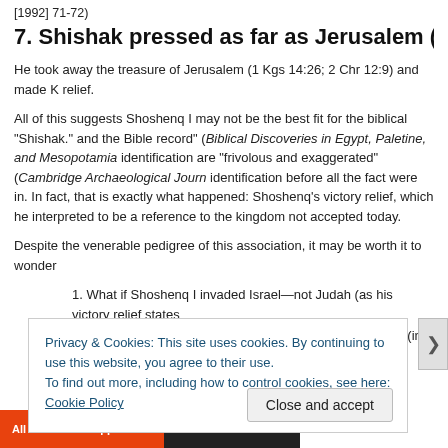[1992] 71-72)
7. Shishak pressed as far as Jerusalem (1
He took away the treasure of Jerusalem (1 Kgs 14:26; 2 Chr 12:9) and made K relief.
All of this suggests Shoshenq I may not be the best fit for the biblical “Shishak.” and the Bible record” (Biblical Discoveries in Egypt, Paletine, and Mesopotamia identification are “frivolous and exaggerated” (Cambridge Archaeological Journ identification before all the fact were in. In fact, that is exactly what happened: Shoshenq's victory relief, which he interpreted to be a reference to the kingdom not accepted today.
Despite the venerable pedigree of this association, it may be worth it to wonder
What if Shoshenq I invaded Israel—not Judah (as his victory relief states
What if he did so in the ninth century BC—not the tenth (in harmony with
Privacy & Cookies: This site uses cookies. By continuing to use this website, you agree to their use.
To find out more, including how to control cookies, see here: Cookie Policy
Close and accept